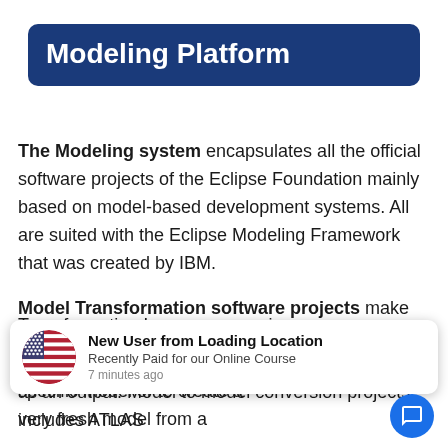Modeling Platform
The Modeling system encapsulates all the official software projects of the Eclipse Foundation mainly based on model-based development systems. All are suited with the Eclipse Modeling Framework that was created by IBM.
Model Transformation software projects make use of Eclipse Modeling Framework (EMF), based models, as a gateway and generate a model or text as an output. Model to model conversion projects includes ATLAS Transformation Language, a unique open source ... convert a specific model or to create a very fresh model from a
[Figure (infographic): Notification toast overlay showing US flag icon, text 'New User from Loading Location', 'Recently Paid for our Online Course', '7 minutes ago', and a blue chat bubble icon in the bottom right.]